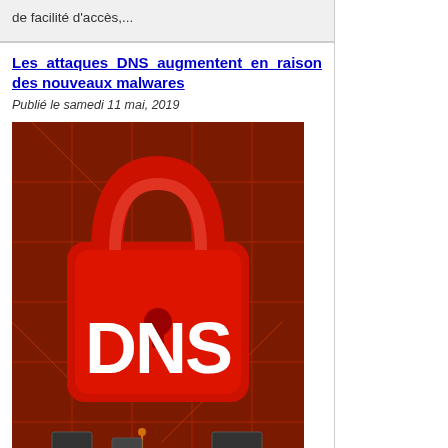de facilité d'accès,...
Les attaques DNS augmentent en raison des nouveaux malwares
Publié le samedi 11 mai, 2019
[Figure (photo): Red padlock with DNS text on a circuit board background]
Le groupe de cybercriminels à l'origine de la fameuse campagne de malware "DNSpionage" a commencé à travailler avec de nouveaux outils et logiciels malveillants pour